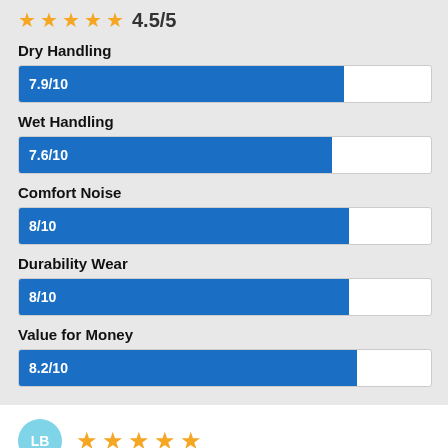[Figure (other): Star rating display showing 4.5/5 with orange stars]
Dry Handling
[Figure (bar-chart): Dry Handling]
Wet Handling
[Figure (bar-chart): Wet Handling]
Comfort Noise
[Figure (bar-chart): Comfort Noise]
Durability Wear
[Figure (bar-chart): Durability Wear]
Value for Money
[Figure (bar-chart): Value for Money]
[Figure (other): Reviewer avatar LB with 5 orange stars]
30/08/2020